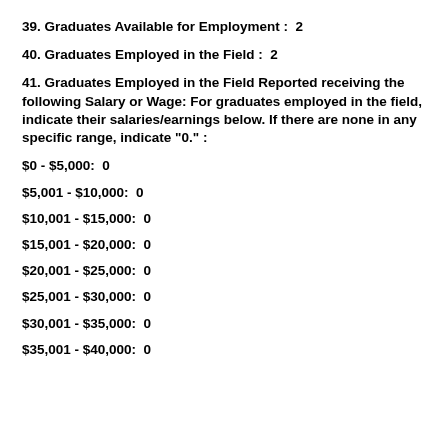39. Graduates Available for Employment : 2
40. Graduates Employed in the Field : 2
41. Graduates Employed in the Field Reported receiving the following Salary or Wage: For graduates employed in the field, indicate their salaries/earnings below. If there are none in any specific range, indicate "0." :
$0 - $5,000 : 0
$5,001 - $10,000 : 0
$10,001 - $15,000 : 0
$15,001 - $20,000 : 0
$20,001 - $25,000 : 0
$25,001 - $30,000 : 0
$30,001 - $35,000 : 0
$35,001 - $40,000 : 0